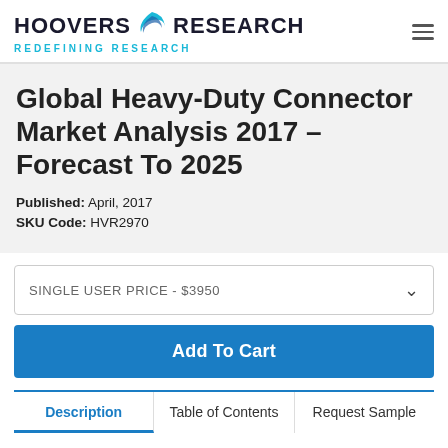HOOVERS RESEARCH — REDEFINING RESEARCH
Global Heavy-Duty Connector Market Analysis 2017 – Forecast To 2025
Published: April, 2017
SKU Code: HVR2970
SINGLE USER PRICE - $3950
Add To Cart
Description | Table of Contents | Request Sample